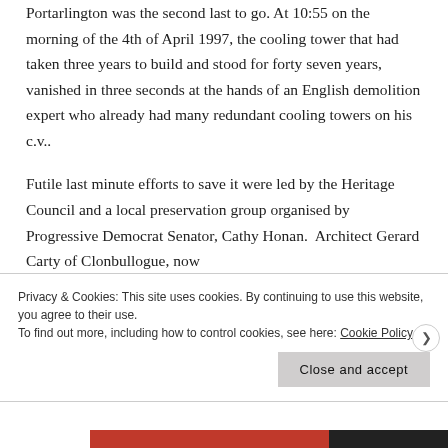Portarlington was the second last to go. At 10:55 on the morning of the 4th of April 1997, the cooling tower that had taken three years to build and stood for forty seven years, vanished in three seconds at the hands of an English demolition expert who already had many redundant cooling towers on his c.v..
Futile last minute efforts to save it were led by the Heritage Council and a local preservation group organised by Progressive Democrat Senator, Cathy Honan.  Architect Gerard Carty of Clonbullogue, now
Privacy & Cookies: This site uses cookies. By continuing to use this website, you agree to their use.
To find out more, including how to control cookies, see here: Cookie Policy
Close and accept